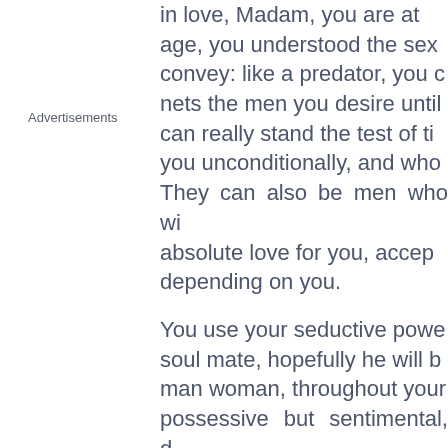Advertisements
in love, Madam, you are at age, you understood the sex convey: like a predator, you c nets the men you desire until can really stand the test of t you unconditionally, and wh They can also be men who w absolute love for you, accep depending on you.
You use your seductive pow soul mate, hopefully he will b man woman, throughout you possessive but sentimental, boredom in your relationship violence and the thirst for the
The ruler of the Ascendant, a interesting nuances to the Ascendant. The sign in whic tunes the style of personality